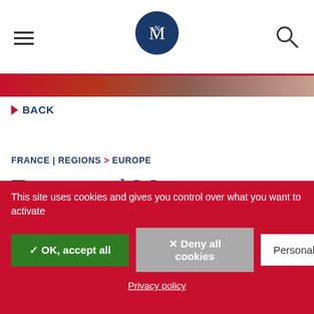M (logo) — navigation header
BACK
FRANCE | REGIONS > EUROPE
Emmanuel Macron - "Europe on the edge of a precipice"
This site uses cookies and gives you control over what you want to activate
✓ OK, accept all
✕ Deny all cookies
Personalize
Privacy policy